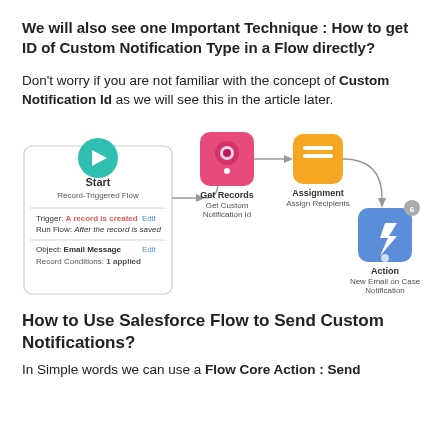We will also see one Important Technique : How to get ID of Custom Notification Type in a Flow directly?
Don't worry if you are not familiar with the concept of Custom Notification Id as we will see this in the article later.
[Figure (flowchart): Salesforce Flow diagram showing: Start (Record-Triggered Flow) with Trigger: A record is created, Run Flow: After the record is saved, Object: Email Message, Record Conditions: 1 applied → Get Records (Get Custom Notification Id) → Assignment (Assign Recipients) → Action (New Email on Case Notification)]
How to Use Salesforce Flow to Send Custom Notifications?
In Simple words we can use a Flow Core Action : Send